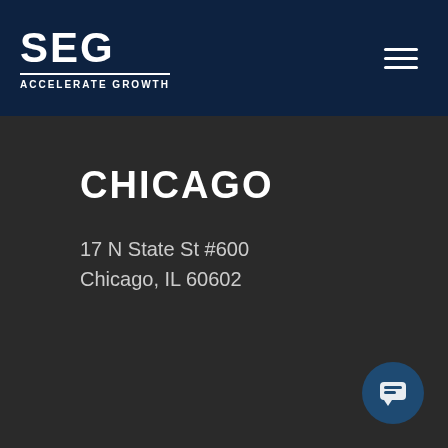[Figure (logo): SEG Accelerate Growth logo in white on dark navy header bar]
CHICAGO
17 N State St #600
Chicago, IL 60602
[Figure (screenshot): Chat popup widget with SEG badge, close X button, and message: Are you ready to surpass your revenue goals? Let us know how we can assist]
[Figure (other): Chat button widget in bottom right corner, dark teal circle with chat icon]